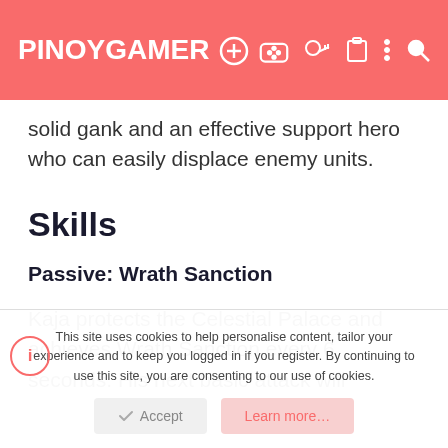PINOYGAMER
solid gank and an effective support hero who can easily displace enemy units.
Skills
Passive: Wrath Sanction
Kaja protects the Celestial Palace and achieves Wrath Sanction every 6 seconds. His next basic attack will
This site uses cookies to help personalise content, tailor your experience and to keep you logged in if you register. By continuing to use this site, you are consenting to our use of cookies.